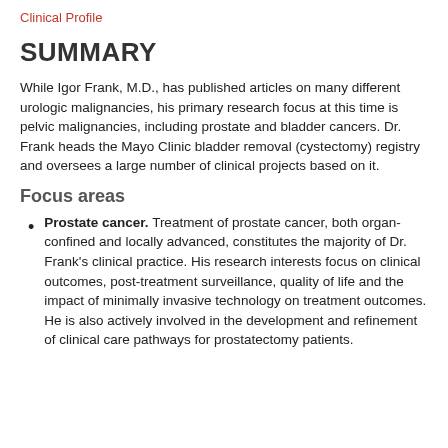Clinical Profile
SUMMARY
While Igor Frank, M.D., has published articles on many different urologic malignancies, his primary research focus at this time is pelvic malignancies, including prostate and bladder cancers. Dr. Frank heads the Mayo Clinic bladder removal (cystectomy) registry and oversees a large number of clinical projects based on it.
Focus areas
Prostate cancer. Treatment of prostate cancer, both organ-confined and locally advanced, constitutes the majority of Dr. Frank's clinical practice. His research interests focus on clinical outcomes, post-treatment surveillance, quality of life and the impact of minimally invasive technology on treatment outcomes. He is also actively involved in the development and refinement of clinical care pathways for prostatectomy patients.